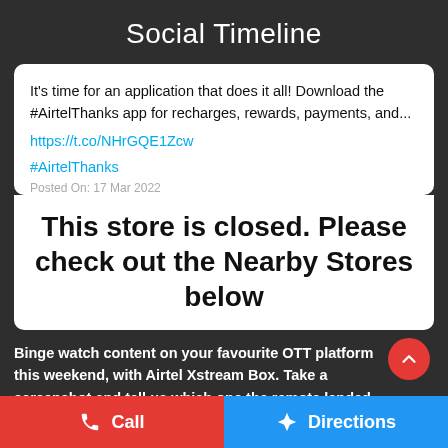Social Timeline
It's time for an application that does it all! Download the #AirtelThanks app for recharges, rewards, payments, and...
https://t.co/NHrGQE1Zcw
#AirtelThanks
Posted On: 17 Mar 2022
This store is closed. Please check out the Nearby Stores below
Binge watch content on your favourite OTT platform this weekend, with Airtel Xstream Box. Take a screenshot and tell us which one the remote landed on for you!
Call
Directions